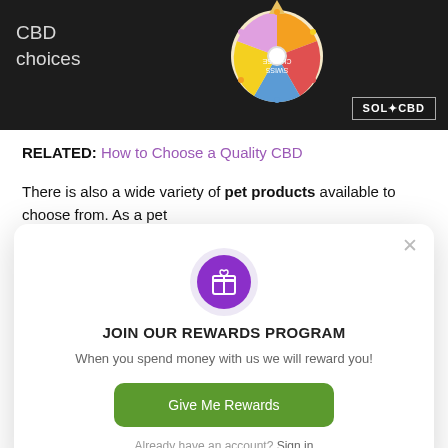[Figure (screenshot): Hero banner image with dark chalkboard background, a spinning wheel graphic with 'SWISS CHEESE' text visible (upside down), handwritten-style text 'CBD choices' on the left, and 'SOL CBD' logo badge in bottom right corner.]
RELATED: How to Choose a Quality CBD
There is also a wide variety of pet products available to choose from. As a pet
[Figure (screenshot): Modal popup for 'JOIN OUR REWARDS PROGRAM' with purple gift box icon, subtitle 'When you spend money with us we will reward you!', green 'Give Me Rewards' button, and 'Already have an account? Sign in' link. Has X close button in top right.]
questions to ask when choosing a CBD oil: